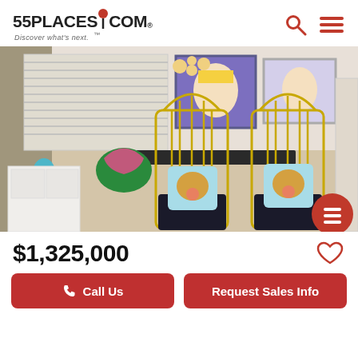55PLACES.COM Discover what's next.
[Figure (photo): Interior room photo showing two gold birdcage-style chairs with leopard print cushions, colorful dining chairs, pop art paintings, and modern pendant light fixture]
$1,325,000
Call Us
Request Sales Info